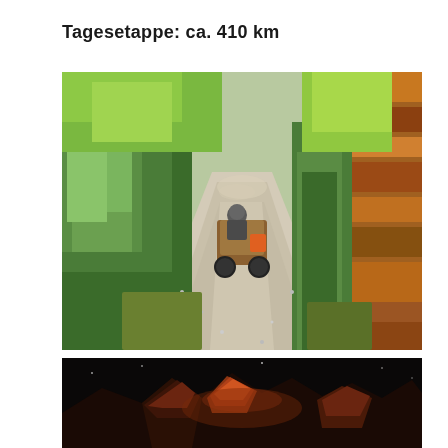Tagesetappe: ca. 410 km
[Figure (photo): A motorcycle rider on a gravel road through a forest, with green trees on the left and an orange-brown rocky cliff face on the right. Dust is visible behind the bike.]
[Figure (photo): Night scene of illuminated rocky formations or possibly a castle/fortress lit with orange/red lights against a dark sky.]